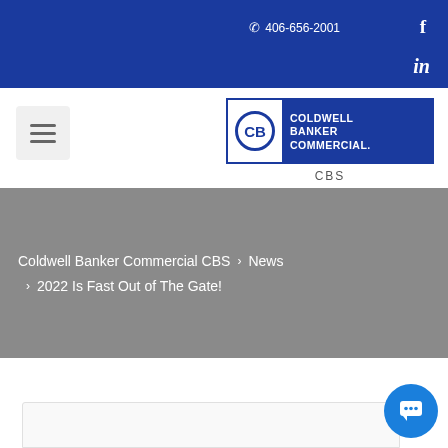406-656-2001
[Figure (logo): Coldwell Banker Commercial CBS logo — blue rectangle with CB icon and text COLDWELL BANKER COMMERCIAL, below text CBS]
Coldwell Banker Commercial CBS > News > 2022 Is Fast Out of The Gate!